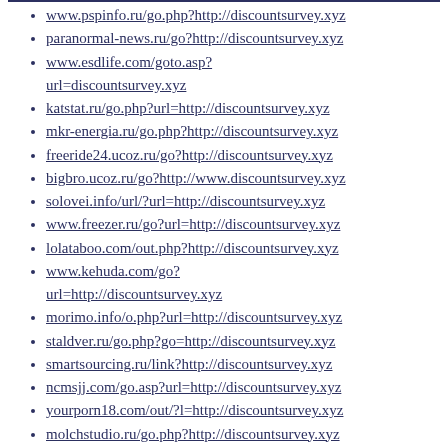www.pspinfo.ru/go.php?http://discountsurvey.xyz
paranormal-news.ru/go?http://discountsurvey.xyz
www.esdlife.com/goto.asp?url=discountsurvey.xyz
katstat.ru/go.php?url=http://discountsurvey.xyz
mkr-energia.ru/go.php?http://discountsurvey.xyz
freeride24.ucoz.ru/go?http://discountsurvey.xyz
bigbro.ucoz.ru/go?http://www.discountsurvey.xyz
solovei.info/url/?url=http://discountsurvey.xyz
www.freezer.ru/go?url=http://discountsurvey.xyz
lolataboo.com/out.php?http://discountsurvey.xyz
www.kehuda.com/go?url=http://discountsurvey.xyz
morimo.info/o.php?url=http://discountsurvey.xyz
staldver.ru/go.php?go=http://discountsurvey.xyz
smartsourcing.ru/link?http://discountsurvey.xyz
ncmsjj.com/go.asp?url=http://discountsurvey.xyz
yourporn18.com/out/?l=http://discountsurvey.xyz
molchstudio.ru/go.php?http://discountsurvey.xyz